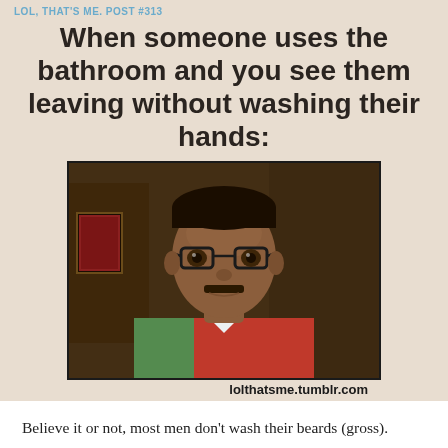LOL, THAT'S ME. POST #313
When someone uses the bathroom and you see them leaving without washing their hands:
[Figure (photo): A man wearing glasses and a red and green polo shirt, looking composed and unimpressed, standing indoors. Movie or TV still.]
lolthatsme.tumblr.com
Believe it or not, most men don't wash their beards (gross). While some attempt to, they often do it incorrectly. Washing your beard is crucial if you want yours to lay flat not pointing in 30 different